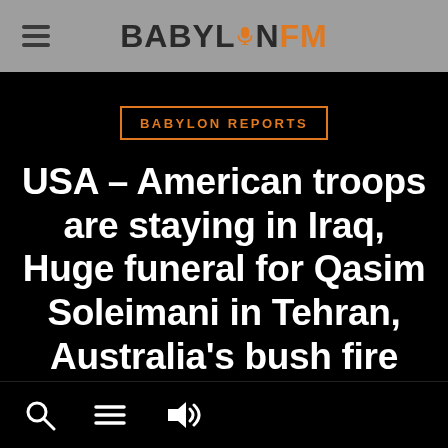BABYLON FM
BABYLON REPORTS
USA – American troops are staying in Iraq, Huge funeral for Qasim Soleimani in Tehran, Australia's bush fire has killed millions of animals